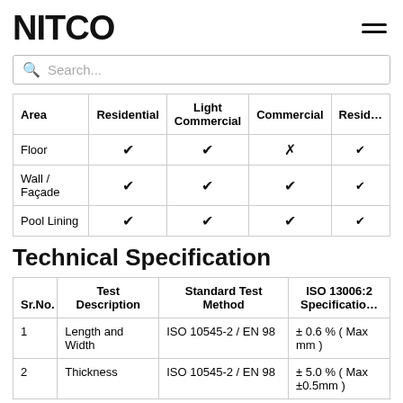NITCO
| Area | Residential | Light Commercial | Commercial | Resid… |
| --- | --- | --- | --- | --- |
| Floor | ✔ | ✔ | ✗ | • |
| Wall / Façade | ✔ | ✔ | ✔ | • |
| Pool Lining | ✔ | ✔ | ✔ | • |
Technical Specification
| Sr.No. | Test Description | Standard Test Method | ISO 13006:2 Specificatio… |
| --- | --- | --- | --- |
| 1 | Length and Width | ISO 10545-2 / EN 98 | ± 0.6 % ( Max mm ) |
| 2 | Thickness | ISO 10545-2 / EN 98 | ± 5.0 % ( Max ±0.5mm ) |